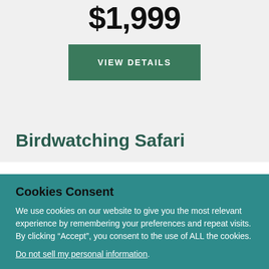$1,999
VIEW DETAILS
Birdwatching Safari
Cookies Consent
We use cookies on our website to give you the most relevant experience by remembering your preferences and repeat visits. By clicking “Accept”, you consent to the use of ALL the cookies.
Do not sell my personal information.
Cookie Settings
Accept